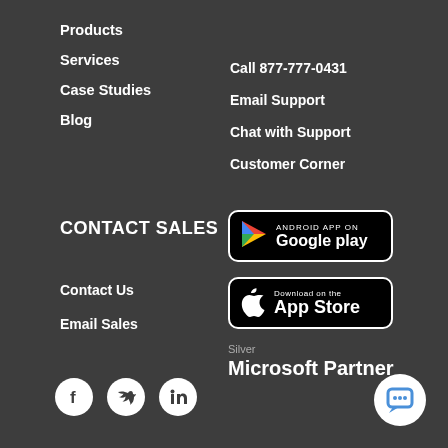Products
Services
Case Studies
Blog
Call 877-777-0431
Email Support
Chat with Support
Customer Corner
CONTACT SALES
Contact Us
Email Sales
[Figure (logo): Google Play store badge with colorful Play icon]
[Figure (logo): Apple App Store download badge with Apple logo]
[Figure (logo): Silver Microsoft Partner logo]
[Figure (illustration): Social media icons: Facebook, Twitter, LinkedIn in white circles]
[Figure (illustration): Chat support bubble icon in white circle]